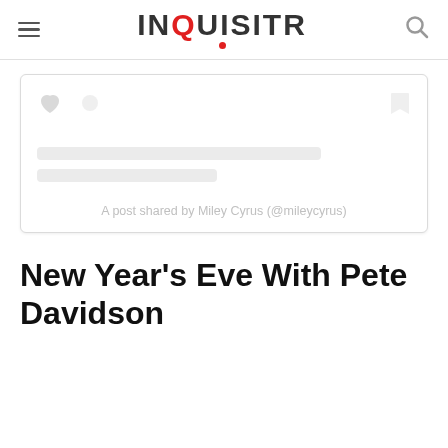INQUISITR
[Figure (screenshot): Instagram embed placeholder card with like, comment, and bookmark icons and two skeleton loading lines. Caption reads: A post shared by Miley Cyrus (@mileycyrus)]
A post shared by Miley Cyrus (@mileycyrus)
New Year's Eve With Pete Davidson